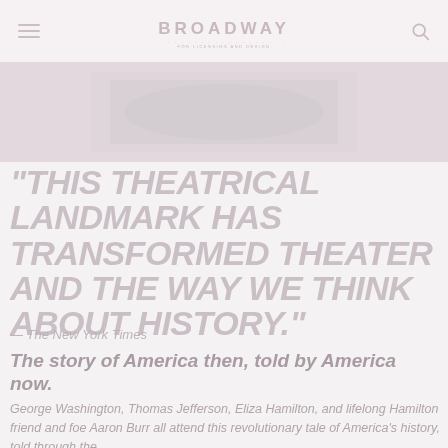BROADWAY
[Figure (photo): Hero image of a Broadway theater stage, faded light pinkish-gray tones]
"THIS THEATRICAL LANDMARK HAS TRANSFORMED THEATER AND THE WAY WE THINK ABOUT HISTORY."
— The New York Times
The story of America then, told by America now.
George Washington, Thomas Jefferson, Eliza Hamilton, and lifelong Hamilton friend and foe Aaron Burr all attend this revolutionary tale of America's history, told through the